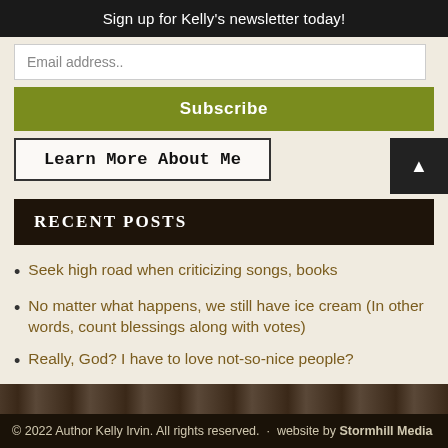Sign up for Kelly's newsletter today!
Email address..
Subscribe
Learn More About Me
RECENT POSTS
Seek high road when criticizing songs, books
No matter what happens, we still have ice cream (In other words, count blessings along with votes)
Really, God? I have to love not-so-nice people?
© 2022 Author Kelly Irvin. All rights reserved.  ·  website by Stormhill Media